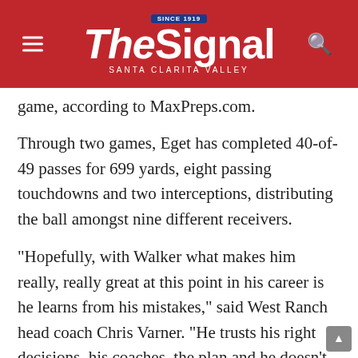The Signal — Santa Clarita Valley (Since 1919)
game, according to MaxPreps.com.
Through two games, Eget has completed 40-of-49 passes for 699 yards, eight passing touchdowns and two interceptions, distributing the ball amongst nine different receivers.
“Hopefully, with Walker what makes him really, really great at this point in his career is he learns from his mistakes,” said West Ranch head coach Chris Varner. “He trusts his right decisions, his coaches, the plan and he doesn’t just rely on his athletic ability, he really is a student of the game. It’s very awesome